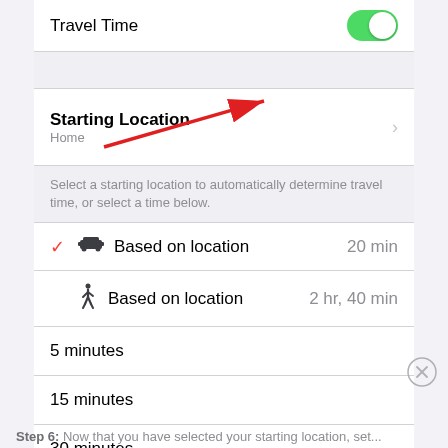[Figure (screenshot): iOS settings screenshot showing Travel Time toggle (green/on), Starting Location set to Home with a red arrow annotation pointing to the row, a helper text section, and location-based and fixed time options (Based on location 20 min driving, Based on location 2 hr 40 min walking, 5 minutes, 15 minutes, 30 minutes, 1 hour)]
Step 6: Now that you have selected your starting location, set...